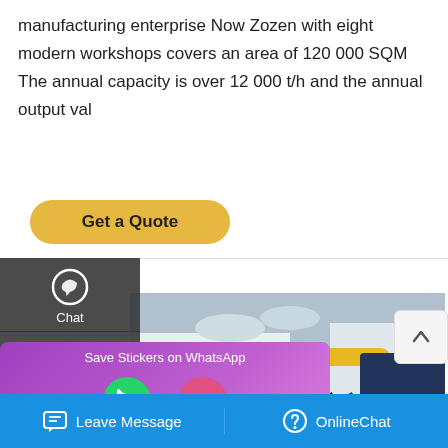manufacturing enterprise Now Zozen with eight modern workshops covers an area of 120 000 SQM The annual capacity is over 12 000 t/h and the annual output val
[Figure (screenshot): Get a Quote yellow rounded button]
[Figure (screenshot): Dark sidebar with Chat, Email, Contact icons overlaid on left side]
[Figure (photo): Factory interior showing industrial boiler equipment with yellow pipes, metal staircase, and large blue industrial boilers]
[Figure (screenshot): WhatsApp sticker save popup with purple gradient background showing phone and smiley icon buttons]
[Figure (screenshot): Scroll-up arrow button on right side]
[Figure (screenshot): Blue bottom bar with Leave Message and OnlineChat buttons]